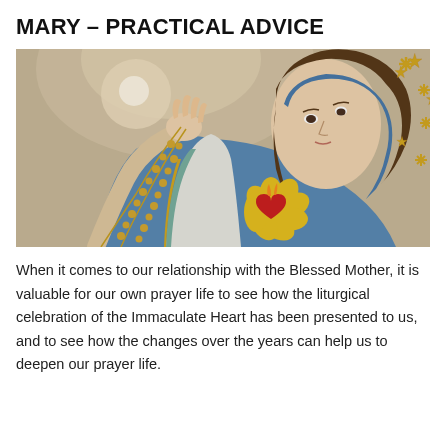MARY – PRACTICAL ADVICE
[Figure (photo): A close-up photograph of a statue of the Blessed Virgin Mary (Immaculate Heart) holding a golden rosary in her raised hand, wearing a blue mantle with golden star crown, with a flaming heart on her chest surrounded by sunflower-like petals.]
When it comes to our relationship with the Blessed Mother, it is valuable for our own prayer life to see how the liturgical celebration of the Immaculate Heart has been presented to us, and to see how the changes over the years can help us to deepen our prayer life.